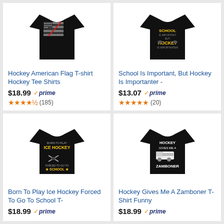[Figure (photo): Black t-shirt with American flag and hockey stick design]
Hockey American Flag T-shirt Hockey Tee Shirts
$18.99 prime (185) 4.5 stars
[Figure (photo): Black t-shirt with 'School Is Important But Hockey Is Importanter' text]
School Is Important, But Hockey Is Importanter -
$13.07 prime (20) 5 stars
[Figure (photo): Black t-shirt with 'Born To Play Ice Hockey Forced To Go To School' design]
Born To Play Ice Hockey Forced To Go To School T-
$18.99 prime
[Figure (photo): Black t-shirt with 'Hockey Gives Me A Zamboner' design]
Hockey Gives Me A Zamboner T-Shirt Funny
$18.99 prime